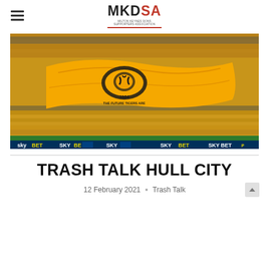MKDSA
[Figure (photo): Football fans in yellow/amber shirts filling a stadium, holding up a large orange flag/banner with a tiger logo and text '1904' and 'THE FUTURE TIGERS ARE' visible. Sky Bet advertising boards at the bottom.]
TRASH TALK HULL CITY
12 February 2021  ·  Trash Talk